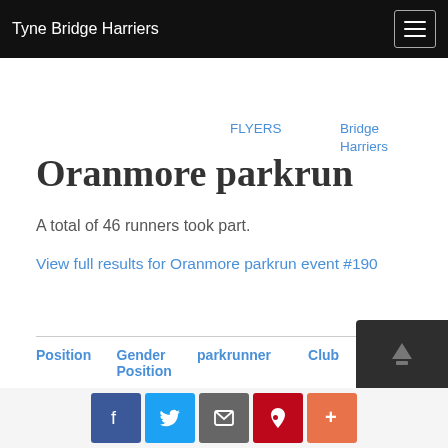Tyne Bridge Harriers
FLYERS
Bridge Harriers
Oranmore parkrun
A total of 46 runners took part.
View full results for Oranmore parkrun event #190
| Position | Gender Position | parkrunner | Club | Run Time |
| --- | --- | --- | --- | --- |
| 1 | 1 | Kathryn CASSERLY | Unattached | 00:... |